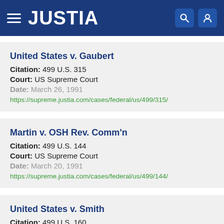JUSTIA
United States v. Gaubert
Citation: 499 U.S. 315
Court: US Supreme Court
Date: March 26, 1991
https://supreme.justia.com/cases/federal/us/499/315/
Martin v. OSH Rev. Comm'n
Citation: 499 U.S. 144
Court: US Supreme Court
Date: March 20, 1991
https://supreme.justia.com/cases/federal/us/499/144/
United States v. Smith
Citation: 499 U.S. 160